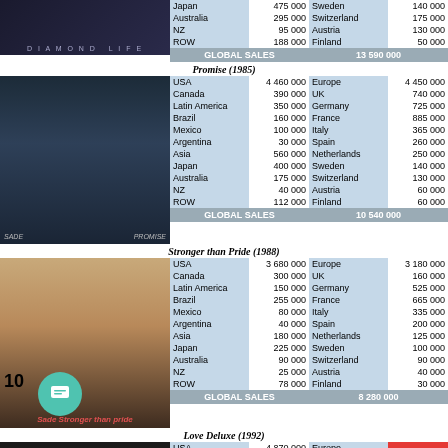[Figure (photo): Diamond Life album cover - dark background with DIAMOND LIFE text]
| Region | Sales | Region | Sales |
| --- | --- | --- | --- |
| Japan | 475 000 | Sweden | 140 000 |
| Australia | 295 000 | Switzerland | 175 000 |
| NZ | 95 000 | Austria | 130 000 |
| ROW | 188 000 | Finland | 50 000 |
| GLOBAL SALES |  | 13 590 000 |  |
Promise (1985)
[Figure (photo): Promise album cover - Sade portrait dark tones]
| Region | Sales | Region | Sales |
| --- | --- | --- | --- |
| USA | 4 460 000 | Europe | 4 450 000 |
| Canada | 390 000 | UK | 740 000 |
| Latin America | 350 000 | Germany | 725 000 |
| Brazil | 160 000 | France | 885 000 |
| Mexico | 100 000 | Italy | 365 000 |
| Argentina | 30 000 | Spain | 260 000 |
| Asia | 560 000 | Netherlands | 250 000 |
| Japan | 400 000 | Sweden | 140 000 |
| Australia | 175 000 | Switzerland | 130 000 |
| NZ | 40 000 | Austria | 60 000 |
| ROW | 112 000 | Finland | 60 000 |
| GLOBAL SALES |  | 10 540 000 |  |
Stronger than Pride (1988)
[Figure (photo): Stronger than Pride album cover - Sade portrait warm tones with logo]
| Region | Sales | Region | Sales |
| --- | --- | --- | --- |
| USA | 3 680 000 | Europe | 3 180 000 |
| Canada | 300 000 | UK | 160 000 |
| Latin America | 150 000 | Germany | 525 000 |
| Brazil | 255 000 | France | 665 000 |
| Mexico | 80 000 | Italy | 335 000 |
| Argentina | 40 000 | Spain | 200 000 |
| Asia | 180 000 | Netherlands | 125 000 |
| Japan | 225 000 | Sweden | 100 000 |
| Australia | 90 000 | Switzerland | 90 000 |
| NZ | 25 000 | Austria | 40 000 |
| ROW | 78 000 | Finland | 30 000 |
| GLOBAL SALES |  | 8 280 000 |  |
Love Deluxe (1992)
[Figure (photo): Love Deluxe album cover - golden statue figure]
| Region | Sales | Region | Sales |
| --- | --- | --- | --- |
| USA | 4 870 000 | Europe | … |
| Canada | 280 000 | UK | … |
| Latin America | 260 000 | Germany | 120 000 |
| Brazil | 140 000 | France | 195 000 |
| Mexico | 60 000 | Italy | 340 000 |
| Argentina | 20 000 | Spain | 260 000 |